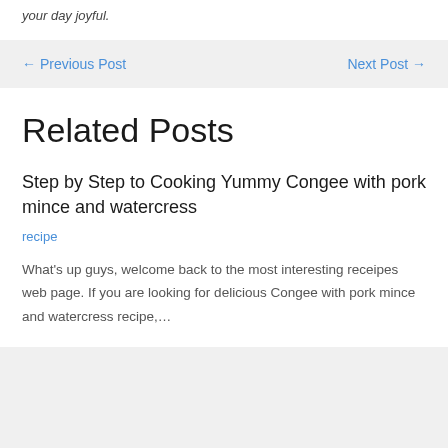your day joyful.
← Previous Post    Next Post →
Related Posts
Step by Step to Cooking Yummy Congee with pork mince and watercress
recipe
What's up guys, welcome back to the most interesting receipes web page. If you are looking for delicious Congee with pork mince and watercress recipe,…